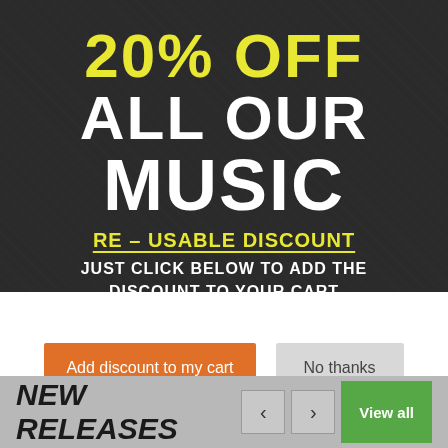[Figure (infographic): Dark background photo of person with headphones overlaid with promotional text: 20% OFF ALL OUR MUSIC, RE-USABLE DISCOUNT, JUST CLICK BELOW TO ADD THE DISCOUNT TO YOUR CART]
20% OFF ALL OUR MUSIC
RE-USABLE DISCOUNT
JUST CLICK BELOW TO ADD THE DISCOUNT TO YOUR CART
Add discount to my cart
No thanks
NEW RELEASES